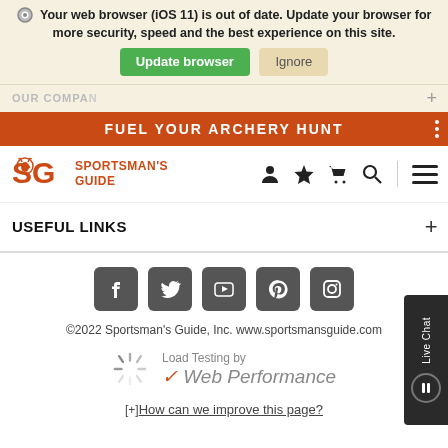Your web browser (iOS 11) is out of date. Update your browser for more security, speed and the best experience on this site.
Update browser | Ignore
OUR COMPANY
FUEL YOUR ARCHERY HUNT
[Figure (logo): Sportsman's Guide logo with SG initials and deer icon]
USEFUL LINKS
[Figure (infographic): Social media icons: Facebook, Twitter, YouTube, Pinterest, Instagram]
©2022 Sportsman's Guide, Inc. www.sportsmansguide.com
[Figure (infographic): Loading spinner and Load Testing by Web Performance logo]
[+] How can we improve this page?